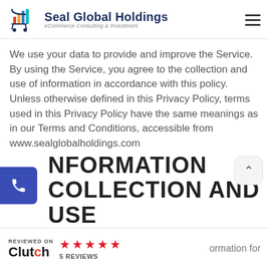Seal Global Holdings — eCommerce Consulting & Investment
We use your data to provide and improve the Service. By using the Service, you agree to the collection and use of information in accordance with this policy. Unless otherwise defined in this Privacy Policy, terms used in this Privacy Policy have the same meanings as in our Terms and Conditions, accessible from www.sealglobalholdings.com
INFORMATION COLLECTION AND USE
REVIEWED ON Clutch 5 REVIEWS | ormation for